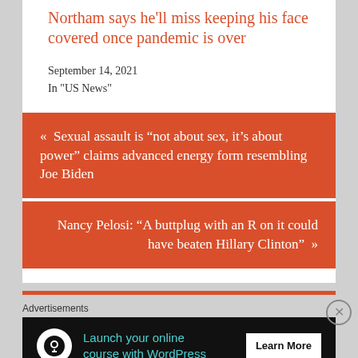Northam says he'll miss keeping his face covered once pandemic is over
September 14, 2021
In "US News"
« Sexual assault is “not about sex, it’s about power” claims advanced energy form resembling Joe Biden
Nancy Pelosi: “A buttplug with an R on it could have beaten Hillary Clinton” »
Advertisements
[Figure (infographic): Advertisement banner: Launch your online course with WordPress. Learn More button. Dark background with teal text and white circular icon.]